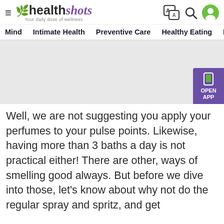[Figure (logo): Healthshots logo with hamburger menu, leaf icon, 'health' in dark text, 'shots' in purple italic, tagline 'Your daily dose of wellness', and right-side icons: translate, search, user avatar]
Mind   Intimate Health   Preventive Care   Healthy Eating   F
[Figure (other): Grey rectangular advertisement banner placeholder]
Well, we are not suggesting you apply your perfumes to your pulse points. Likewise, having more than 3 baths a day is not practical either! There are other, ways of smelling good always. But before we dive into those, let's know about why not do the regular spray and spritz, and get